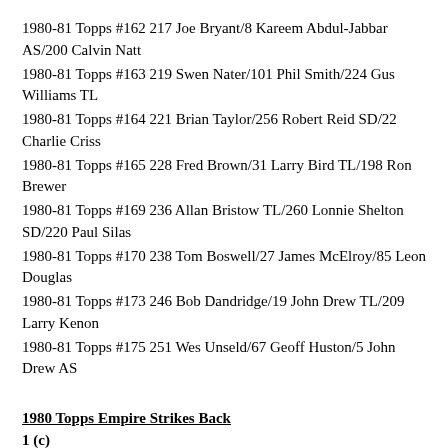1980-81 Topps #162 217 Joe Bryant/8 Kareem Abdul-Jabbar AS/200 Calvin Natt
1980-81 Topps #163 219 Swen Nater/101 Phil Smith/224 Gus Williams TL
1980-81 Topps #164 221 Brian Taylor/256 Robert Reid SD/22 Charlie Criss
1980-81 Topps #165 228 Fred Brown/31 Larry Bird TL/198 Ron Brewer
1980-81 Topps #169 236 Allan Bristow TL/260 Lonnie Shelton SD/220 Paul Silas
1980-81 Topps #170 238 Tom Boswell/27 James McElroy/85 Leon Douglas
1980-81 Topps #173 246 Bob Dandridge/19 John Drew TL/209 Larry Kenon
1980-81 Topps #175 251 Wes Unseld/67 Geoff Huston/5 John Drew AS
1980 Topps Empire Strikes Back
1 (c)